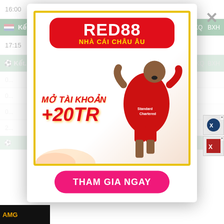16:00   Tochigi SC  1-1  Thespa Kusatsu
Kết quả bóng đá Hạng 2 Hà Lan   Lịch  KQ  BXH
17:15   MVV Maastricht  1-1  Roda JC
[Figure (infographic): RED88 advertisement banner. Header: RED88 NHÀ CÁI CHÂU ÂU. Body: Mở tài khoản +20TR. Shows a football player in red Liverpool kit celebrating. Button: THAM GIA NGAY]